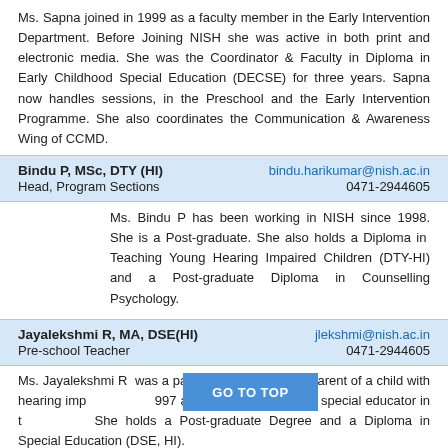Ms. Sapna joined in 1999 as a faculty member in the Early Intervention Department. Before Joining NISH she was active in both print and electronic media. She was the Coordinator & Faculty in Diploma in Early Childhood Special Education (DECSE) for three years. Sapna now handles sessions, in the Preschool and the Early Intervention Programme. She also coordinates the Communication & Awareness Wing of CCMD.
| Bindu P, MSc, DTY (HI) | bindu.harikumar@nish.ac.in |
| Head, Program Sections | 0471-2944605 |
Ms. Bindu P has been working in NISH since 1998. She is a Post-graduate. She also holds a Diploma in Teaching Young Hearing Impaired Children (DTY-HI) and a Post-graduate Diploma in Counselling Psychology.
| Jayalekshmi R, MA, DSE(HI) | jlekshmi@nish.ac.in |
| Pre-school Teacher | 0471-2944605 |
Ms. Jayalekshmi R was a part of NISH (EIP) as a parent of a child with hearing impairment in 1997 and later on joined as a special educator in the Centre. She holds a Post-graduate Degree and a Diploma in Special Education (DSE, HI).